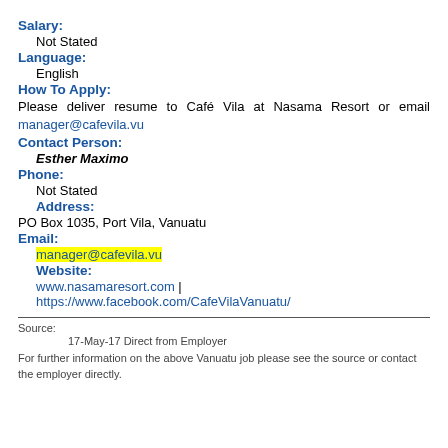Salary:
Not Stated
Language:
English
How To Apply:
Please deliver resume to Café Vila at Nasama Resort or email manager@cafevila.vu
Contact Person:
Esther Maximo
Phone:
Not Stated
Address:
PO Box 1035, Port Vila, Vanuatu
Email:
manager@cafevila.vu
Website:
www.nasamaresort.com | https://www.facebook.com/CafeVilaVanuatu/
Source:
17-May-17 Direct from Employer
For further information on the above Vanuatu job please see the source or contact the employer directly.